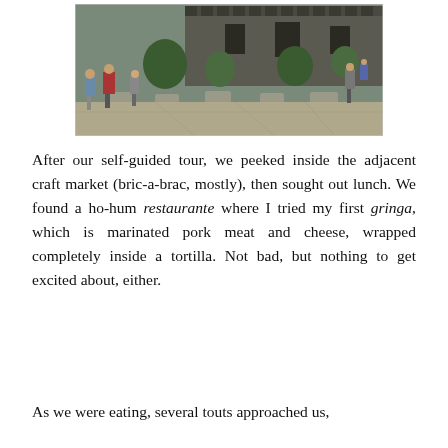[Figure (photo): Outdoor photograph of a historic castle or fortified building with crenellated walls. People are walking on a paved plaza area with stone planters and trees in the foreground. The scene appears to be in Mexico or Central America.]
After our self-guided tour, we peeked inside the adjacent craft market (bric-a-brac, mostly), then sought out lunch. We found a ho-hum restaurante where I tried my first gringa, which is marinated pork meat and cheese, wrapped completely inside a tortilla. Not bad, but nothing to get excited about, either.
As we were eating, several touts approached us,flaunting their wares. Several had, at